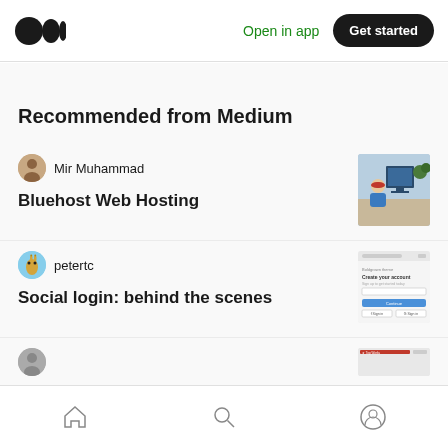Medium logo | Open in app | Get started
Recommended from Medium
Mir Muhammad
Bluehost Web Hosting
[Figure (photo): Thumbnail image of a person in a red hat working at a computer desk]
petertc
Social login: behind the scenes
[Figure (screenshot): Thumbnail screenshot of a social login form with email and social sign-in buttons]
Home | Search | Profile navigation icons